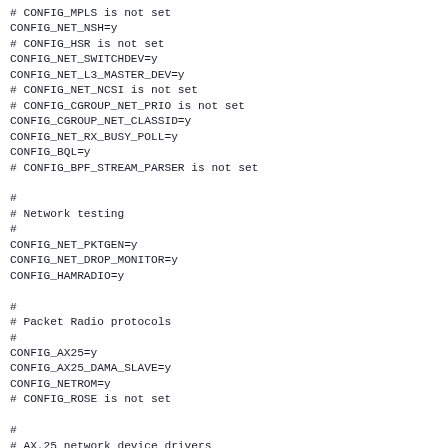# CONFIG_MPLS is not set
CONFIG_NET_NSH=y
# CONFIG_HSR is not set
CONFIG_NET_SWITCHDEV=y
CONFIG_NET_L3_MASTER_DEV=y
# CONFIG_NET_NCSI is not set
# CONFIG_CGROUP_NET_PRIO is not set
CONFIG_CGROUP_NET_CLASSID=y
CONFIG_NET_RX_BUSY_POLL=y
CONFIG_BQL=y
# CONFIG_BPF_STREAM_PARSER is not set

#
# Network testing
#
CONFIG_NET_PKTGEN=y
CONFIG_NET_DROP_MONITOR=y
CONFIG_HAMRADIO=y

#
# Packet Radio protocols
#
CONFIG_AX25=y
CONFIG_AX25_DAMA_SLAVE=y
CONFIG_NETROM=y
# CONFIG_ROSE is not set

#
# AX.25 network device drivers
#
CONFIG_MKISS=y